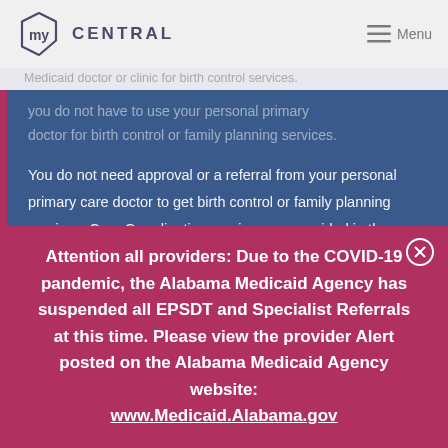my CENTRAL  Menu
Medicaid doctor or clinic for birth control services. You do not have to use your personal primary doctor for birth control or family planning services.
You do not need approval or a referral from your personal primary care doctor to get birth control or family planning services. Care Coordination services are provided in the county where you live.
My Care Alabama Central, My Care Alabama East,
Attention all providers: Due to the COVID-19 pandemic, the Alabama Medicaid Agency has suspended all EPSDT and Specialist Referrals at this time. Please view the provider Alert posted on the Alabama Medicaid Agency website: www.Medicaid.Alabama.gov